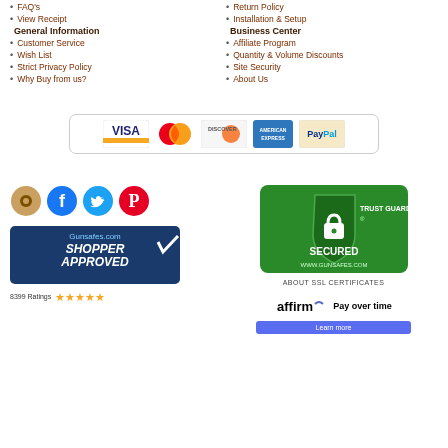FAQ's
View Receipt
General Information
Customer Service
Wish List
Strict Privacy Policy
Why Buy from us?
Return Policy
Installation & Setup
Business Center
Affiliate Program
Quantity & Volume Discounts
Site Security
About Us
[Figure (other): Payment methods: Visa, MasterCard, Discover, American Express, PayPal]
[Figure (other): Social media icons: camera, Facebook, Twitter, Pinterest]
[Figure (other): Gunsafes.com Shopper Approved badge with 8399 Ratings and 5 stars]
[Figure (other): Trust Guard Secured badge for www.gunsafes.com with text ABOUT SSL CERTIFICATES]
[Figure (other): Affirm Pay over time logo with Learn more button]